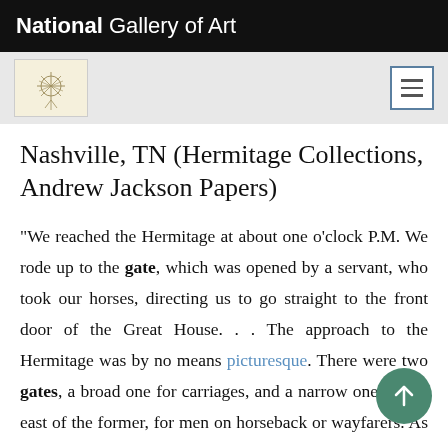National Gallery of Art
Nashville, TN (Hermitage Collections, Andrew Jackson Papers)
“We reached the Hermitage at about one o’clock P.M. We rode up to the gate, which was opened by a servant, who took our horses, directing us to go straight to the front door of the Great House. . . The approach to the Hermitage was by no means picturesque. There were two gates, a broad one for carriages, and a narrow one, to the east of the former, for men on horseback or wayfarers. As travelers approached from the South, they could see only the upper tier of windows of the